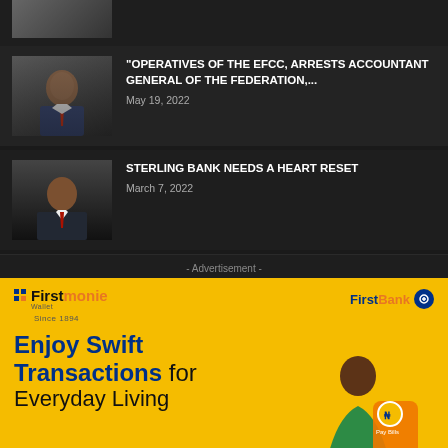[Figure (photo): Partial view of a group photo at the top of the page]
[Figure (photo): Portrait of a man in a suit pointing finger, related to EFCC article]
"OPERATIVES OF THE EFCC, ARRESTS ACCOUNTANT GENERAL OF THE FEDERATION,...
May 19, 2022
[Figure (photo): Portrait of a man in a suit, related to Sterling Bank article]
STERLING BANK NEEDS A HEART RESET
March 7, 2022
- Advertisement -
[Figure (infographic): FirstMonie Wallet and FirstBank advertisement banner with yellow background. Text reads: Enjoy Swift Transactions for Everyday Living. Shows a woman with a mobile phone and payment icons.]